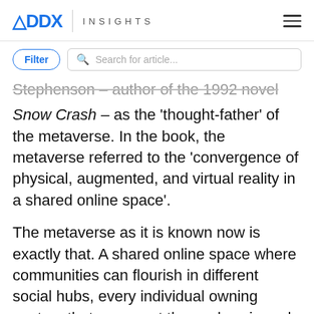ADDX INSIGHTS
Filter  Search for article...
Stephenson – author of the 1992 novel Snow Crash – as the 'thought-father' of the metaverse. In the book, the metaverse referred to the 'convergence of physical, augmented, and virtual reality in a shared online space'.
The metaverse as it is known now is exactly that. A shared online space where communities can flourish in different social hubs, every individual owning avatars that represent themselves in real